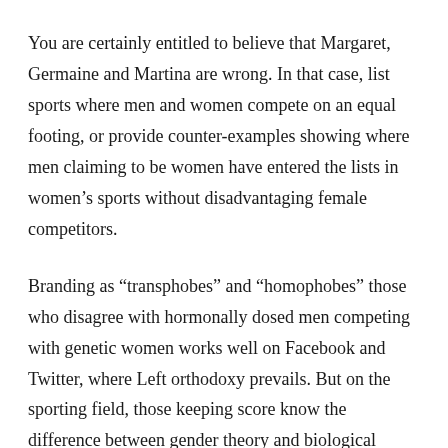You are certainly entitled to believe that Margaret, Germaine and Martina are wrong. In that case, list sports where men and women compete on an equal footing, or provide counter-examples showing where men claiming to be women have entered the lists in women’s sports without disadvantaging female competitors.
Branding as “transphobes” and “homophobes” those who disagree with hormonally dosed men competing with genetic women works well on Facebook and Twitter, where Left orthodoxy prevails. But on the sporting field, those keeping score know the difference between gender theory and biological reality.